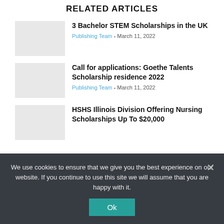RELATED ARTICLES
3 Bachelor STEM Scholarships in the UK
Publishing Team - March 11, 2022
Call for applications: Goethe Talents Scholarship residence 2022
Publishing Team - March 11, 2022
HSHS Illinois Division Offering Nursing Scholarships Up To $20,000
We use cookies to ensure that we give you the best experience on our website. If you continue to use this site we will assume that you are happy with it.
Ok